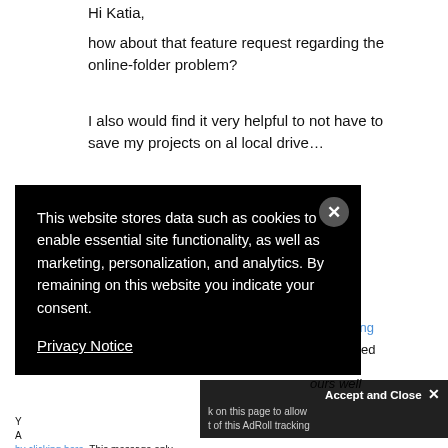how about that feature request regarding the online-folder problem?
I also would find it very helpful to not have to save my projects on al local drive...
Thanks so much in advance
Cheers Christian
This website stores data such as cookies to enable essential site functionality, as well as marketing, personalization, and analytics. By remaining on this website you indicate your consent.
Privacy Notice
Accept and Close ×
k on this page to allow t of this AdRoll tracking